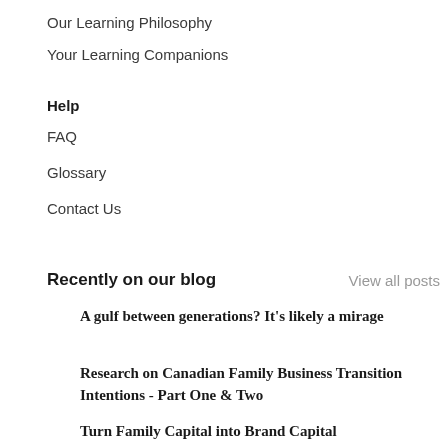Our Learning Philosophy
Your Learning Companions
Help
FAQ
Glossary
Contact Us
Recently on our blog
View all posts
A gulf between generations? It's likely a mirage
Research on Canadian Family Business Transition Intentions - Part One & Two
Turn Family Capital into Brand Capital